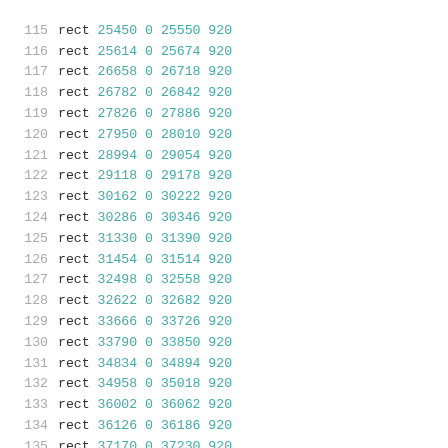115 rect 25450 0 25550 920
116 rect 25614 0 25674 920
117 rect 26658 0 26718 920
118 rect 26782 0 26842 920
119 rect 27826 0 27886 920
120 rect 27950 0 28010 920
121 rect 28994 0 29054 920
122 rect 29118 0 29178 920
123 rect 30162 0 30222 920
124 rect 30286 0 30346 920
125 rect 31330 0 31390 920
126 rect 31454 0 31514 920
127 rect 32498 0 32558 920
128 rect 32622 0 32682 920
129 rect 33666 0 33726 920
130 rect 33790 0 33850 920
131 rect 34834 0 34894 920
132 rect 34958 0 35018 920
133 rect 36002 0 36062 920
134 rect 36126 0 36186 920
135 rect 37170 0 37230 920
136 rect 37294 0 37354 920